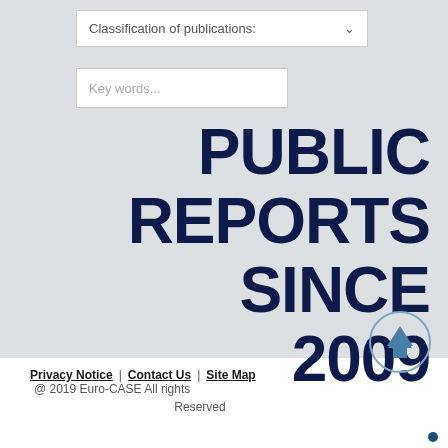[Figure (screenshot): Dropdown select input labeled 'Classification of publications:' with a down arrow chevron]
[Figure (screenshot): Text input field with placeholder text 'Key words...']
PUBLIC REPORTS SINCE 2009
Privacy Notice | Contact Us | Site Map @ 2019 Euro-CASE All rights Reserved
[Figure (other): Circular back-to-top button with upward arrow icon]